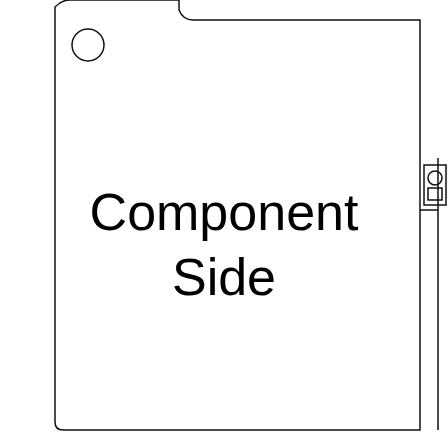[Figure (engineering-diagram): PCB component side outline drawing showing a board outline with a notch cutout at the top center, a mounting hole (circle) at the top left, and a connector symbol (circle over square) on the right side outside the board. Text 'Component Side' is centered on the board.]